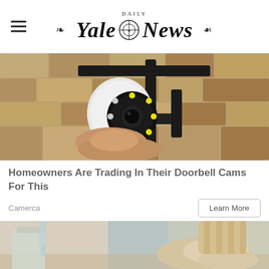Yale Daily News
[Figure (photo): A person holding a security camera with LED ring against a rough stone wall, close-up view.]
Homeowners Are Trading In Their Doorbell Cams For This
Camerca
[Figure (photo): A person wearing a latex glove holding a glass jar near a kitchen sink with running water.]